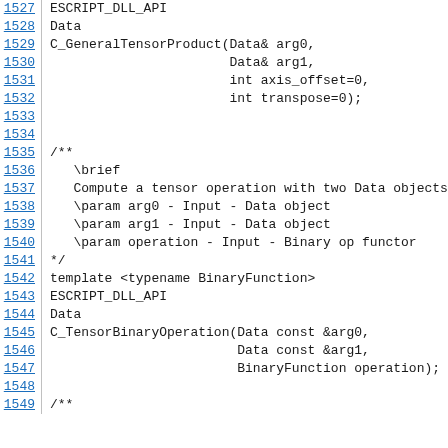1527 ESCRIPT_DLL_API
1528 Data
1529 C_GeneralTensorProduct(Data& arg0,
1530                          Data& arg1,
1531                          int axis_offset=0,
1532                          int transpose=0);
1533
1534
1535 /**
1536    \brief
1537    Compute a tensor operation with two Data objects
1538    \param arg0 - Input - Data object
1539    \param arg1 - Input - Data object
1540    \param operation - Input - Binary op functor
1541 */
1542 template <typename BinaryFunction>
1543 ESCRIPT_DLL_API
1544 Data
1545 C_TensorBinaryOperation(Data const &arg0,
1546                          Data const &arg1,
1547                          BinaryFunction operation);
1548
1549 /**